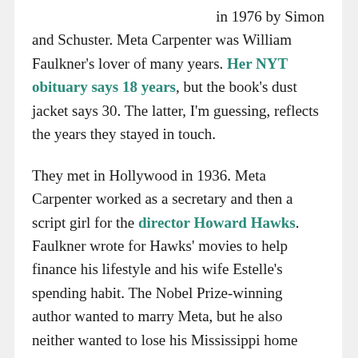in 1976 by Simon and Schuster. Meta Carpenter was William Faulkner's lover of many years. Her NYT obituary says 18 years, but the book's dust jacket says 30. The latter, I'm guessing, reflects the years they stayed in touch.

They met in Hollywood in 1936. Meta Carpenter worked as a secretary and then a script girl for the director Howard Hawks. Faulkner wrote for Hawks' movies to help finance his lifestyle and his wife Estelle's spending habit. The Nobel Prize-winning author wanted to marry Meta, but he also neither wanted to lose his Mississippi home Rowan Oak nor his ability to live with his beloved daughter, Jill. Meta Carpenter eventually broke off their relationship to marry another man. On her